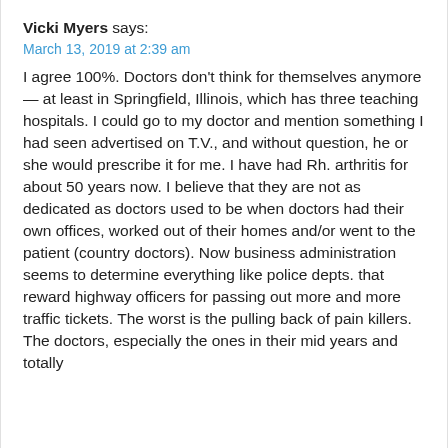Vicki Myers says:
March 13, 2019 at 2:39 am
I agree 100%. Doctors don't think for themselves anymore — at least in Springfield, Illinois, which has three teaching hospitals. I could go to my doctor and mention something I had seen advertised on T.V., and without question, he or she would prescribe it for me. I have had Rh. arthritis for about 50 years now. I believe that they are not as dedicated as doctors used to be when doctors had their own offices, worked out of their homes and/or went to the patient (country doctors). Now business administration seems to determine everything like police depts. that reward highway officers for passing out more and more traffic tickets. The worst is the pulling back of pain killers. The doctors, especially the ones in their mid years and totally